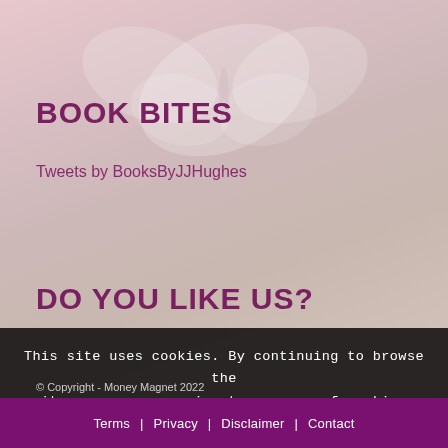BOOK BITES
Tweets by BooksByJJHughes
DO YOU LIKE US?
This site uses cookies. By continuing to browse the site, you are agreeing to our use of cookies.
OK | Learn more
© Copyright - Money Magnet 2022  Terms | Privacy | Disclaimer | Contact